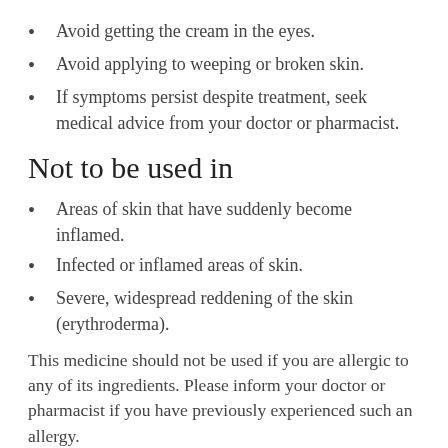Avoid getting the cream in the eyes.
Avoid applying to weeping or broken skin.
If symptoms persist despite treatment, seek medical advice from your doctor or pharmacist.
Not to be used in
Areas of skin that have suddenly become inflamed.
Infected or inflamed areas of skin.
Severe, widespread reddening of the skin (erythroderma).
This medicine should not be used if you are allergic to any of its ingredients. Please inform your doctor or pharmacist if you have previously experienced such an allergy.